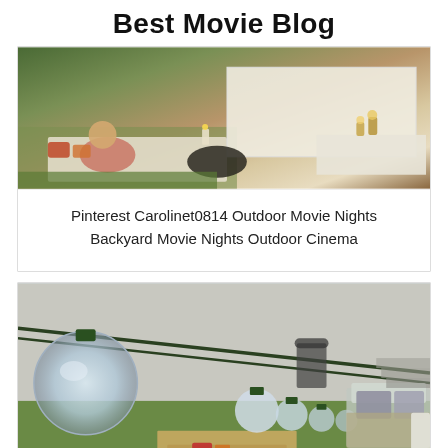Best Movie Blog
[Figure (photo): Woman sitting on blankets and pillows in a backyard outdoor movie setup with a white sheet screen and candles/lanterns]
Pinterest Carolinet0814 Outdoor Movie Nights Backyard Movie Nights Outdoor Cinema
[Figure (photo): Backyard outdoor cinema setup with string lights with large globe bulbs in the foreground, grass lawn, outdoor furniture with cushions, and wooden pallet seating]
[Figure (other): CLOSE X button overlay at the bottom of the page]